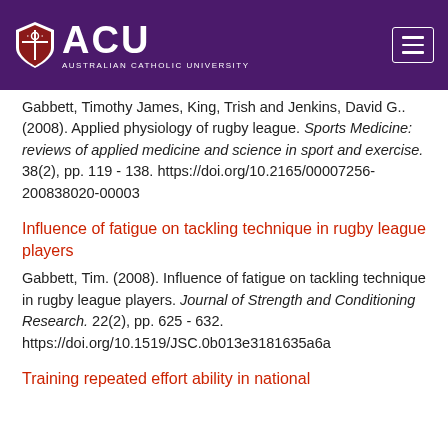[Figure (logo): Australian Catholic University (ACU) logo with shield and text on purple header background, with hamburger menu icon on the right]
Gabbett, Timothy James, King, Trish and Jenkins, David G.. (2008). Applied physiology of rugby league. Sports Medicine: reviews of applied medicine and science in sport and exercise. 38(2), pp. 119 - 138. https://doi.org/10.2165/00007256-200838020-00003
Influence of fatigue on tackling technique in rugby league players
Gabbett, Tim. (2008). Influence of fatigue on tackling technique in rugby league players. Journal of Strength and Conditioning Research. 22(2), pp. 625 - 632. https://doi.org/10.1519/JSC.0b013e3181635a6a
Training repeated effort ability in national